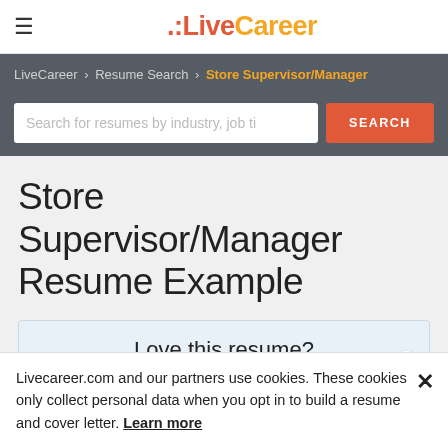≡ LiveCareer
LiveCareer > Resume Search > Store Supervisor/Manager
Search for resumes by industry, job ti  SEARCH
Store Supervisor/Manager Resume Example
Love this resume?
Livecareer.com and our partners use cookies. These cookies only collect personal data when you opt in to build a resume and cover letter. Learn more